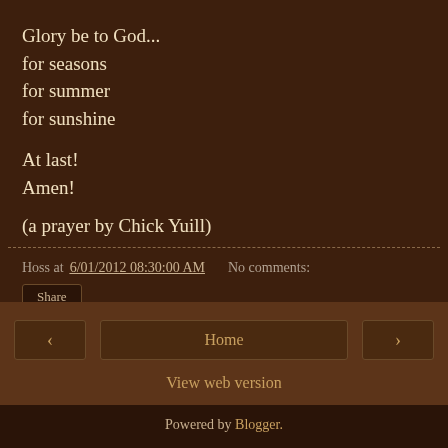Glory be to God...
for seasons
for summer
for sunshine

At last!
Amen!

(a prayer by Chick Yuill)
Hoss at 6/01/2012 08:30:00 AM   No comments:
Share
< Home >
View web version
Powered by Blogger.